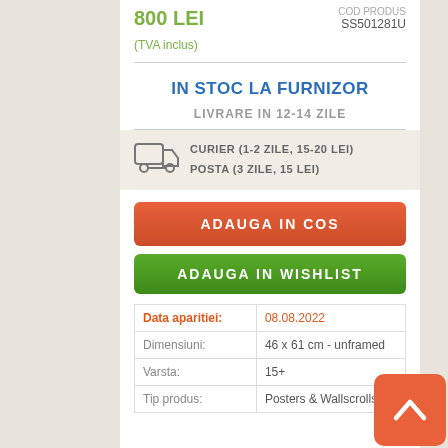800 LEI (TVA inclus)
COD PRODUS SS501281U
IN STOC LA FURNIZOR
LIVRARE IN 12-14 ZILE
CURIER (1-2 ZILE, 15-20 LEI) POSTA (3 ZILE, 15 LEI)
ADAUGA IN COS
ADAUGA IN WISHLIST
| Label | Value |
| --- | --- |
| Data aparitiei: | 08.08.2022 |
| Dimensiuni: | 46 x 61 cm - unframed |
| Varsta: | 15+ |
| Tip produs: | Posters & Wallscrolls |